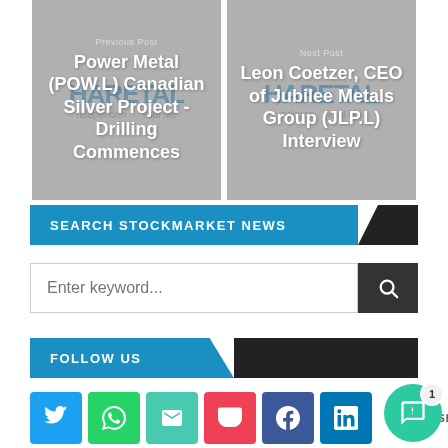[Figure (screenshot): Navigation card - Previous Post: Power Metal (POW.L) Canadian Silver Project - Drilling Commences, with Haretal logo watermark on grey background]
[Figure (screenshot): Navigation card - Next Post: Leon Coetzer, CEO of Jubilee Metals Group (JLP.L) Interview, with Haretal logo watermark on grey background]
SEARCH STOCKMARKET NEWS
Enter keyword...
FOLLOW US
[Figure (infographic): Social sharing buttons row: Twitter (blue), WhatsApp (green), Email (teal), Pocket (red), Facebook (dark blue), LinkedIn (blue), Share icon, SHARES label]